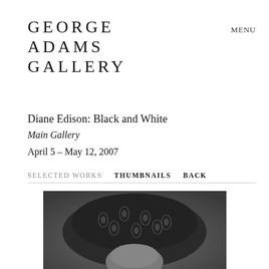GEORGE ADAMS GALLERY
MENU
Diane Edison: Black and White
Main Gallery
April 5 – May 12, 2007
SELECTED WORKS   THUMBNAILS   BACK
[Figure (photo): Black and white photograph showing a person wearing a dark paisley-patterned cap/hat, cropped closely showing the head and hat from above]